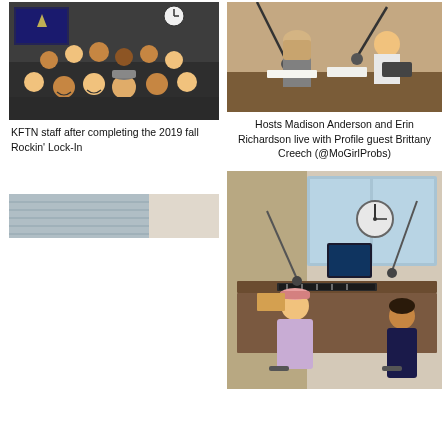[Figure (photo): Group selfie of KFTN staff in a radio studio after completing the 2019 fall Rockin' Lock-In]
KFTN staff after completing the 2019 fall Rockin' Lock-In
[Figure (photo): Hosts Madison Anderson and Erin Richardson live at the radio station with Profile guest Brittany Creech]
Hosts Madison Anderson and Erin Richardson live with Profile guest Brittany Creech (@MoGirlProbs)
[Figure (photo): Partial or blank/light photo on left side]
[Figure (photo): Two people sitting at a radio studio desk with equipment, microphones, monitors]